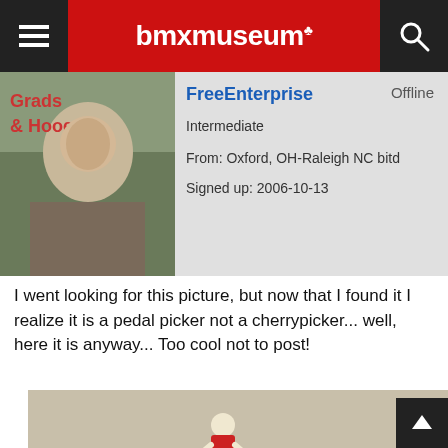bmxmuseum
[Figure (photo): Avatar/profile photo of user FreeEnterprise showing a BMX-related image]
FreeEnterprise
Offline
Intermediate
From: Oxford, OH-Raleigh NC bitd
Signed up: 2006-10-13
I went looking for this picture, but now that I found it I realize it is a pedal picker not a cherrypicker... well, here it is anyway... Too cool not to post!
[Figure (photo): Vintage photo of a BMX rider performing a trick high in the air above a crowd at an outdoor event, with buildings and trees in background, photobucket watermark visible]